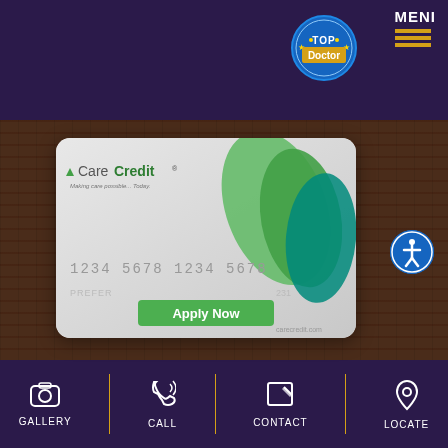[Figure (logo): Aspire rewards program logo with star and crescent, American Society of Plastic Surgeon logo, Member of the American Society for Aesthetic Plastic Surgery logo, ABPS certification logo]
[Figure (logo): Top Doctor badge - blue circular seal]
MENI
[Figure (illustration): CareCredit credit card with green swoosh design, card number 1234 5678 1234 5678, Apply Now green button, carecredit.com URL, tagline Making care possible...Today.]
[Figure (logo): Accessibility icon - blue circle with white person figure]
GALLERY
CALL
CONTACT
LOCATE